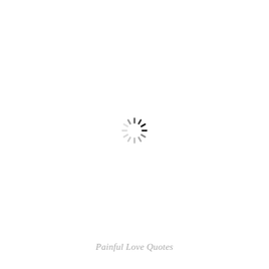[Figure (other): A loading spinner icon (circular dashed/spoked spinner) centered on a white page. The spinner has radial tick marks arranged in a circle, with darker ticks at the top-left and lighter gray ticks around the rest, suggesting rotation animation. Rendered in grayscale on white background.]
Painful Love Quotes